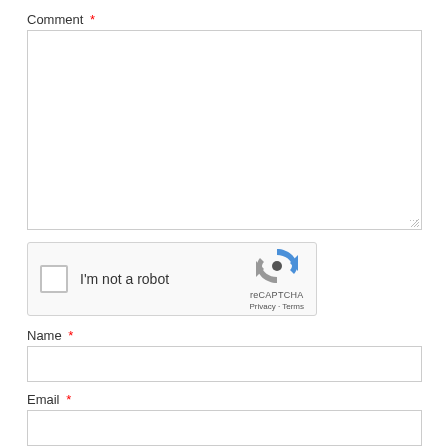Comment *
[Figure (screenshot): Empty comment textarea input field]
[Figure (screenshot): reCAPTCHA widget with checkbox labeled I'm not a robot, reCAPTCHA logo, Privacy and Terms links]
Name *
[Figure (screenshot): Empty Name input field]
Email *
[Figure (screenshot): Empty Email input field (partially visible)]